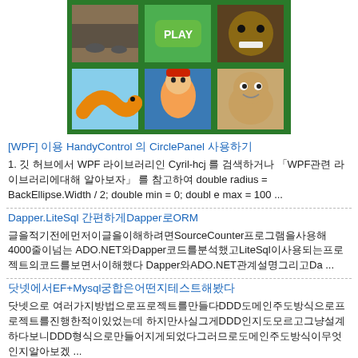[Figure (screenshot): A 3x2 grid of mobile game icons on a green background: top row shows a street scene, a green PLAY button game, and Freddy Fazbear (FNAF); bottom row shows Slither.io worm, Subway Surfers character, and Pou character.]
[WPF] 이용 HandyControl 의 CirclePanel 사용하기
1. 깃 허브에서 WPF 라이브러리인 Cyril-hcj 를 검색하거나 「WPF관련 라이브러리에대해 알아보자」 를 참고하여 double radius = BackEllipse.Width / 2; double min = 0; double max = 100 ...
Dapper.LiteSql 간편하게Dapper로ORM
글을적기전에먼저이글을이해하려면SourceCounter프로그램을사용해4000줄이넘는 ADO.NET와Dapper코드를분석했고LiteSql이사용되는프로젝트의코드를보면서이해했다 Dapper와ADO.NET의관계설명그리고Da ...
닷넷에서EF+Mysql궁합은어떤지테스트해봤다
닷넷으로 여러가지방법으로프로젝트를만들다DDD도메인주도방식으로프로젝트를진행한적이있었는데 하지만사실그게DDD인지도모르고그냥설계하다보니DDD형식으로만들어지게되었다그러므로도메인주도방식이무엇인지알아 ...
닷넷에서redis로IP저장